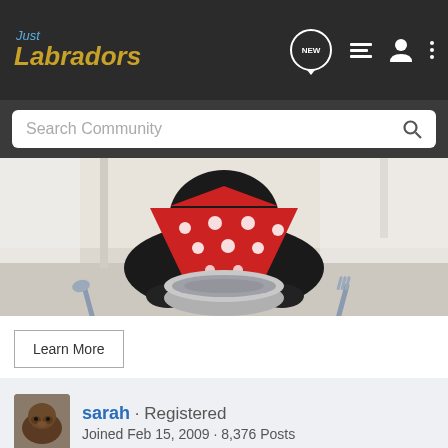Just Labradors
Search Community
[Figure (photo): A black Labrador dog wearing a red polka-dot bandana, lying in front of a silver metal food bowl, with fork and spoon on either side, on a white surface.]
Learn More
sarah · Registered
Joined Feb 15, 2009 · 8,376 Posts
#9 · Jun 28, 2009